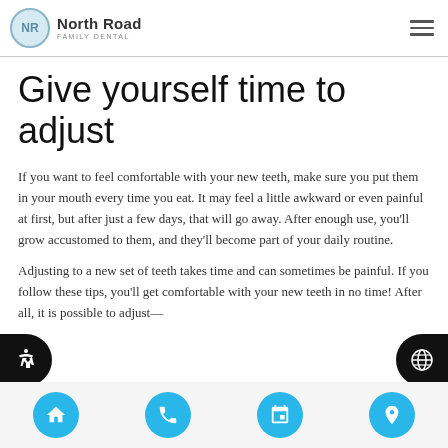North Road Family Dental
Give yourself time to adjust
If you want to feel comfortable with your new teeth, make sure you put them in your mouth every time you eat. It may feel a little awkward or even painful at first, but after just a few days, that will go away. After enough use, you'll grow accustomed to them, and they'll become part of your daily routine.
Adjusting to a new set of teeth takes time and can sometimes be painful. If you follow these tips, you'll get comfortable with your new teeth in no time! After all, it is possible to adjust—